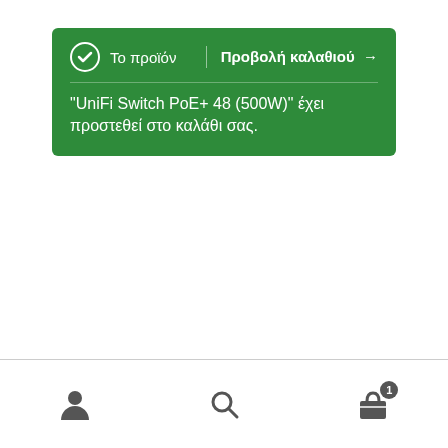Το προϊόν | Προβολή καλαθιού → "UniFi Switch PoE+ 48 (500W)" έχει προστεθεί στο καλάθι σας.
[Figure (screenshot): Red button with magnifying glass search icon]
[Figure (screenshot): Bottom navigation bar with user icon, search icon, and cart icon with badge showing 1]